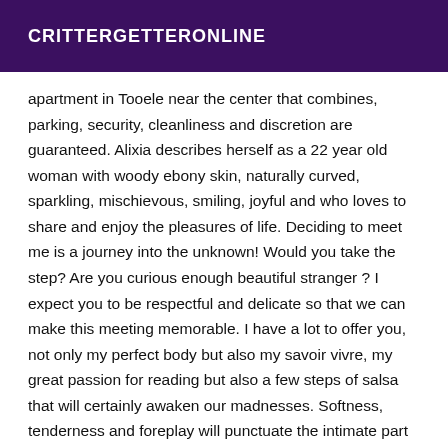CRITTERGETTERONLINE
apartment in Tooele near the center that combines, parking, security, cleanliness and discretion are guaranteed. Alixia describes herself as a 22 year old woman with woody ebony skin, naturally curved, sparkling, mischievous, smiling, joyful and who loves to share and enjoy the pleasures of life. Deciding to meet me is a journey into the unknown! Would you take the step? Are you curious enough beautiful stranger ? I expect you to be respectful and delicate so that we can make this meeting memorable. I have a lot to offer you, not only my perfect body but also my savoir vivre, my great passion for reading but also a few steps of salsa that will certainly awaken our madnesses. Softness, tenderness and foreplay will punctuate the intimate part of our meeting. I kiss languorously if you have a correct oral hygiene. Facesiting and 69 are practices that I appreciate! Natural blowjob is one of my strings. As far